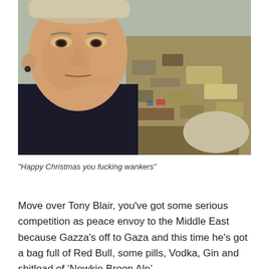[Figure (photo): Close-up photo of a middle-aged man with short blond/grey hair and an earring, looking serious. In the background is rubble and debris, suggesting a war zone or demolition site. The man is wearing a dark jacket.]
"Happy Christmas you fucking wankers"
Move over Tony Blair, you've got some serious competition as peace envoy to the Middle East because Gazza's off to Gaza and this time he's got a bag full of Red Bull, some pills, Vodka, Gin and shitload of ‘Newkie Broon Ale’.